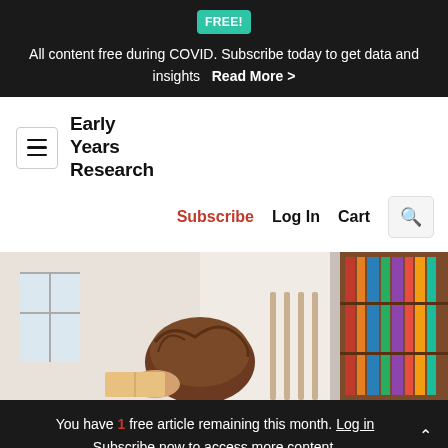FREE! All content free during COVID. Subscribe today to get data and insights   Read More >
[Figure (logo): Early Years Research logo with hamburger menu icon]
Subscribe   Log In   Cart   🔍
[Figure (photo): Child reading or playing with books, seen from above/side angle]
You have 1 free article remaining this month. Log in Subscribe now to access more content.